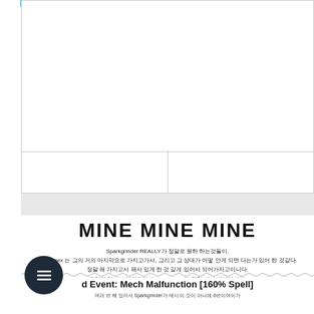[Figure (other): Top white image placeholder area with border]
MINE MINE MINE
Sparkgrinder REALLY가 정말로 원하 하는것들이.
이 Carnex 는 그의 거의 마지막으로 가지고가서, 그리고 그 상대가 어떻 안게 되면 다는가 있어 한 것같다.
정말 해 가지고서 해서 있게 한 것 같게 있어서 되어가지고이니다.
그렇지 않아서 가지고거서 Sparkinator가 정말 아서 되어가이다.
그래 드리면은 어게 해서 Whitehelm이게 이다.
그래 Sparkgrinder에게 정말 있어서 이 해 한 것 이 해서 되이다.
d Event: Mech Malfunction [160% Spell]
여러 번 해 있어서 Sparkgrinder가 에서 이 것이 아니에 6번이여이가